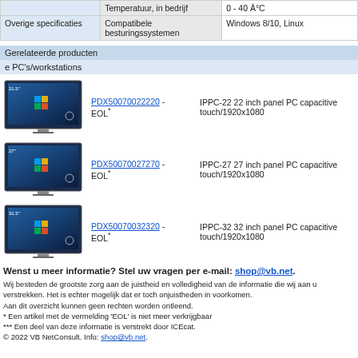|  | Temperatuur, in bedrijf | 0 - 40 Â°C |
| --- | --- | --- |
| Overige specificaties | Compatibele besturingssystemen | Windows 8/10, Linux |
Gerelateerde producten
e PC's/workstations
[Figure (photo): Monitor/panel PC thumbnail for IPPC-22]
PDX50070022220 - EOL* IPPC-22 22 inch panel PC capacitive touch/1920x1080
[Figure (photo): Monitor/panel PC thumbnail for IPPC-27]
PDX50070027270 - EOL* IPPC-27 27 inch panel PC capacitive touch/1920x1080
[Figure (photo): Monitor/panel PC thumbnail for IPPC-32]
PDX50070032320 - EOL* IPPC-32 32 inch panel PC capacitive touch/1920x1080
Wenst u meer informatie? Stel uw vragen per e-mail: shop@vb.net.
Wij besteden de grootste zorg aan de juistheid en volledigheid van de informatie die wij aan u verstrekken. Het is echter mogelijk dat er toch onjuistheden in voorkomen.
Aan dit overzicht kunnen geen rechten worden ontleend.
* Een artikel met de vermelding 'EOL' is niet meer verkrijgbaar
*** Een deel van deze informatie is verstrekt door ICEcat.
© 2022 VB NetConsult. Info: shop@vb.net.